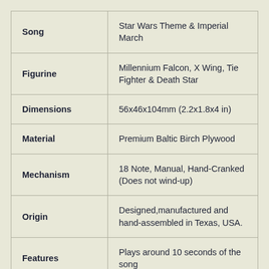| Attribute | Value |
| --- | --- |
| Song | Star Wars Theme & Imperial March |
| Figurine | Millennium Falcon, X Wing, Tie Fighter & Death Star |
| Dimensions | 56x46x104mm (2.2x1.8x4 in) |
| Material | Premium Baltic Birch Plywood |
| Mechanism | 18 Note, Manual, Hand-Cranked (Does not wind-up) |
| Origin | Designed,manufactured and hand-assembled in Texas, USA. |
| Features | Plays around 10 seconds of the song |